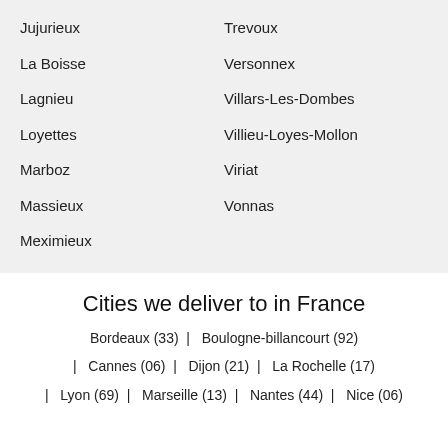Jujurieux
Trevoux
La Boisse
Versonnex
Lagnieu
Villars-Les-Dombes
Loyettes
Villieu-Loyes-Mollon
Marboz
Viriat
Massieux
Vonnas
Meximieux
Cities we deliver to in France
Bordeaux (33)  |  Boulogne-billancourt (92)
|  Cannes (06)  |  Dijon (21)  |  La Rochelle (17)
|  Lyon (69)  |  Marseille (13)  |  Nantes (44)  |  Nice (06)